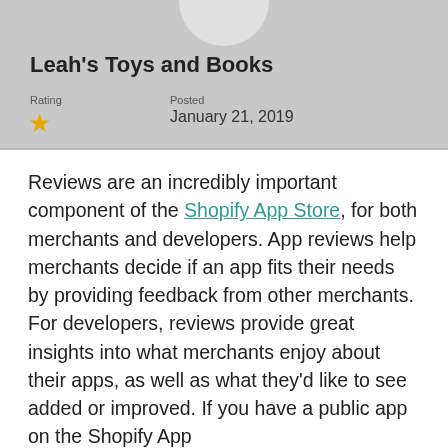Leah's Toys and Books
Rating
Posted
★☆☆☆☆
January 21, 2019
Reviews are an incredibly important component of the Shopify App Store, for both merchants and developers. App reviews help merchants decide if an app fits their needs by providing feedback from other merchants. For developers, reviews provide great insights into what merchants enjoy about their apps, as well as what they'd like to see added or improved. If you have a public app on the Shopify App